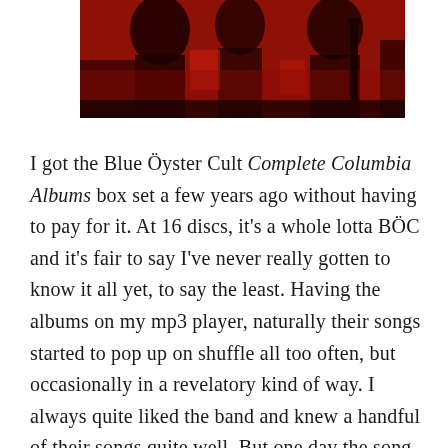[Figure (photo): Partial bottom portion of a red and black high-contrast photograph, likely of musicians or band members on stage.]
I got the Blue Öyster Cult Complete Columbia Albums box set a few years ago without having to pay for it. At 16 discs, it's a whole lotta BÖC and it's fair to say I've never really gotten to know it all yet, to say the least. Having the albums on my mp3 player, naturally their songs started to pop up on shuffle all too often, but occasionally in a revelatory kind of way. I always quite liked the band and knew a handful of their songs quite well. But one day the song Fireworks – a supremely catchy and – as is their way...